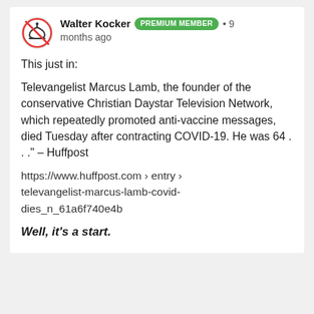Walter Kocker PREMIUM MEMBER • 9 months ago
This just in:
Televangelist Marcus Lamb, the founder of the conservative Christian Daystar Television Network, which repeatedly promoted anti-vaccine messages, died Tuesday after contracting COVID-19. He was 64 . . ." – Huffpost
https://www.huffpost.com › entry › televangelist-marcus-lamb-covid-dies_n_61a6f740e4b
Well, it's a start.